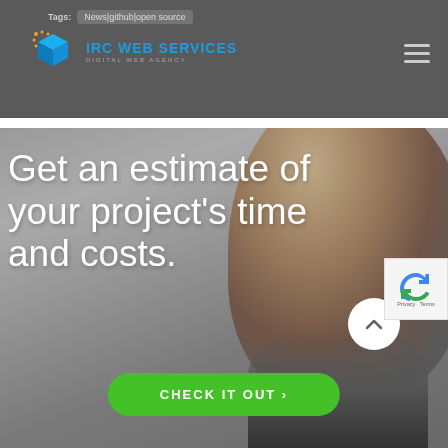Tags: News|github|open source
[Figure (logo): IRC Web Services logo with blue 3D cube icon and text 'IRC WEB SERVICES DIGITAL WEB AGENCY']
Get an estimate of your project's time and costs.
[Figure (photo): Background photo of a person with curly hair and glasses, hero section background]
CHECK IT OUT >